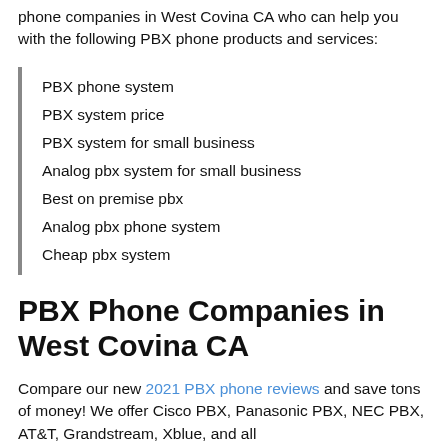phone companies in West Covina CA who can help you with the following PBX phone products and services:
PBX phone system
PBX system price
PBX system for small business
Analog pbx system for small business
Best on premise pbx
Analog pbx phone system
Cheap pbx system
PBX Phone Companies in West Covina CA
Compare our new 2021 PBX phone reviews and save tons of money! We offer Cisco PBX, Panasonic PBX, NEC PBX, AT&T, Grandstream, Xblue, and all